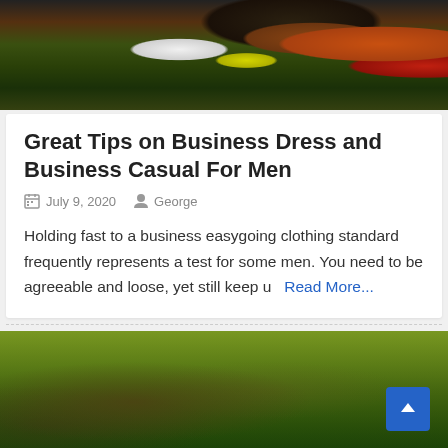[Figure (photo): Sports equipment including football, basketball, tennis ball, baseball bat on a dark background]
Great Tips on Business Dress and Business Casual For Men
July 9, 2020   George
Holding fast to a business easygoing clothing standard frequently represents a test for some men. You need to be agreeable and loose, yet still keep u   Read More...
[Figure (photo): Green grass field background with blurred appearance, back-to-top arrow button in bottom right corner]